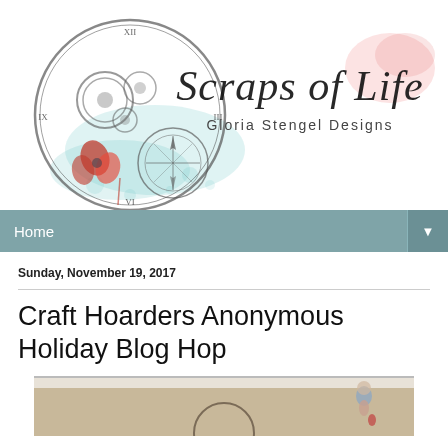[Figure (logo): Scraps of Life - Gloria Stengel Designs logo with steampunk clock/compass illustration and decorative script text]
Home
Sunday, November 19, 2017
Craft Hoarders Anonymous Holiday Blog Hop
[Figure (photo): Partial photo showing what appears to be a holiday craft scene with a small figure]